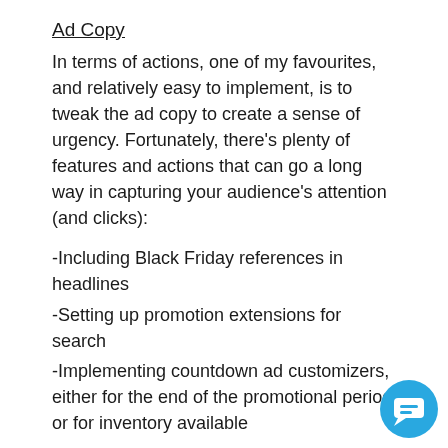Ad Copy
In terms of actions, one of my favourites, and relatively easy to implement, is to tweak the ad copy to create a sense of urgency. Fortunately, there’s plenty of features and actions that can go a long way in capturing your audience’s attention (and clicks):
-Including Black Friday references in headlines
-Setting up promotion extensions for search
-Implementing countdown ad customizers, either for the end of the promotional period or for inventory available